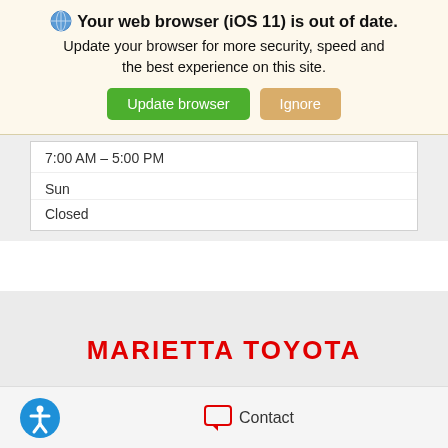Your web browser (iOS 11) is out of date. Update your browser for more security, speed and the best experience on this site.
Update browser | Ignore
| 7:00 AM – 5:00 PM |
| Sun |
| Closed |
[Figure (logo): MARIETTA TOYOTA text logo in bold red uppercase letters]
[Figure (other): Accessibility icon (blue circle with white person) and Contact button with chat bubble icon]